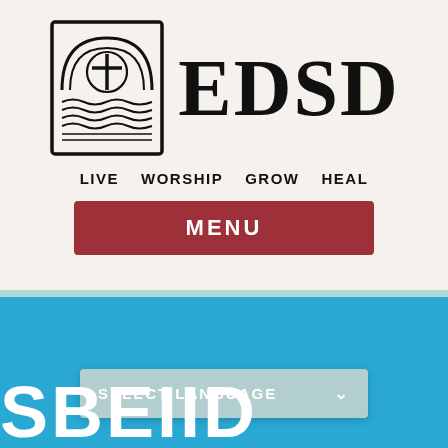[Figure (logo): EDSD church logo: arched stained glass window with cross and water waves, inside a rectangular border, with the letters EDSD in large bold serif font next to it]
LIVE   WORSHIP   GROW   HEAL
MENU
[Figure (screenshot): Blue section with 'SELECT LANGUAGE' dropdown button and large white partial text at bottom]
SELECT LANGUAGE